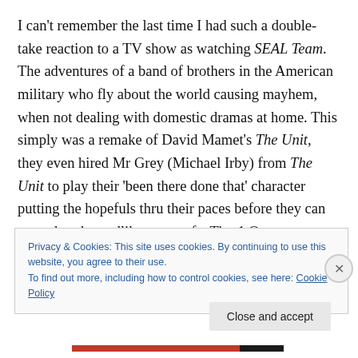I can't remember the last time I had such a double-take reaction to a TV show as watching SEAL Team. The adventures of a band of brothers in the American military who fly about the world causing mayhem, when not dealing with domestic dramas at home. This simply was a remake of David Mamet's The Unit, they even hired Mr Grey (Michael Irby) from The Unit to play their 'been there done that' character putting the hopefuls thru their paces before they can ascend to the godlike status of a Tier 1 Operator. There were touches that distinguished it from
Privacy & Cookies: This site uses cookies. By continuing to use this website, you agree to their use.
To find out more, including how to control cookies, see here: Cookie Policy